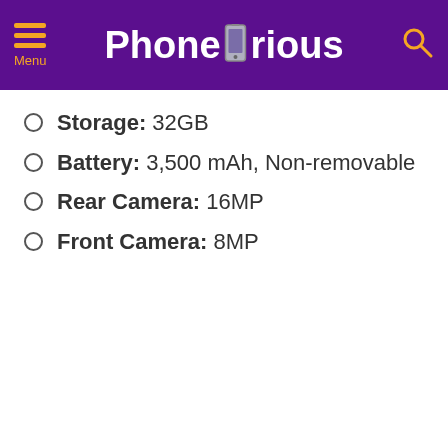Phonecurious
Storage: 32GB
Battery: 3,500 mAh, Non-removable
Rear Camera: 16MP
Front Camera: 8MP